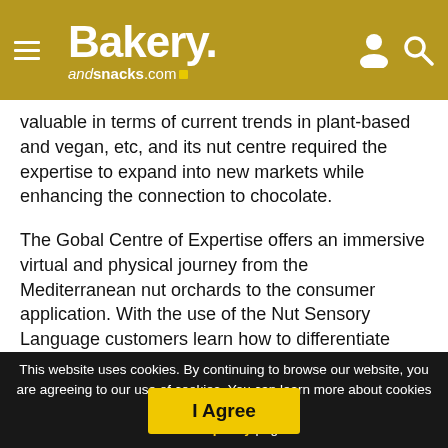Bakery andsnacks.com
valuable in terms of current trends in plant-based and vegan, etc, and its nut centre required the expertise to expand into new markets while enhancing the connection to chocolate.
The Gobal Centre of Expertise offers an immersive virtual and physical journey from the Mediterranean nut orchards to the consumer application. With the use of the Nut Sensory Language customers learn how to differentiate taste, texture and flavour in nut experiences.
This website uses cookies. By continuing to browse our website, you are agreeing to our use of cookies. You can learn more about cookies by visiting our privacy & cookies policy page.